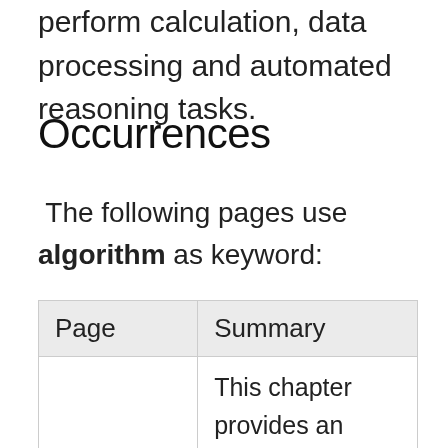perform calculation, data processing and automated reasoning tasks.
Occurrences
The following pages use algorithm as keyword:
| Page | Summary |
| --- | --- |
| Chaos and Clues | This chapter provides an overview of the Chaos and Clues decision algorithm for the assessment of pigmented skin |